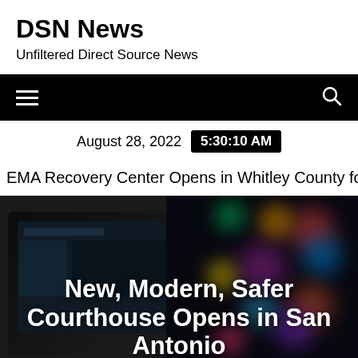DSN News
Unfiltered Direct Source News
Navigation bar with hamburger menu and search icon
August 28, 2022  5:30:10 AM
EMA Recovery Center Opens in Whitley County for Three Da
[Figure (photo): Hero image showing a dark laptop/tablet on the left side and colorful bokeh lights on the right side, with overlay text reading 'New, Modern, Safer Courthouse Opens in San Antonio']
New, Modern, Safer Courthouse Opens in San Antonio